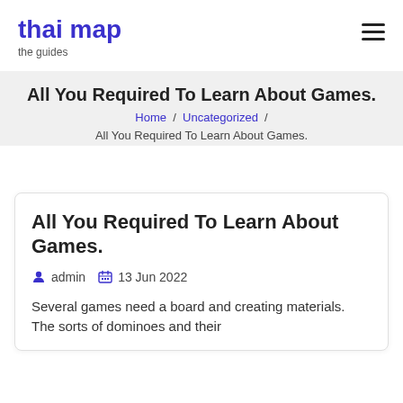thai map / the guides
All You Required To Learn About Games.
Home / Uncategorized / All You Required To Learn About Games.
All You Required To Learn About Games.
admin  13 Jun 2022
Several games need a board and creating materials. The sorts of dominoes and their